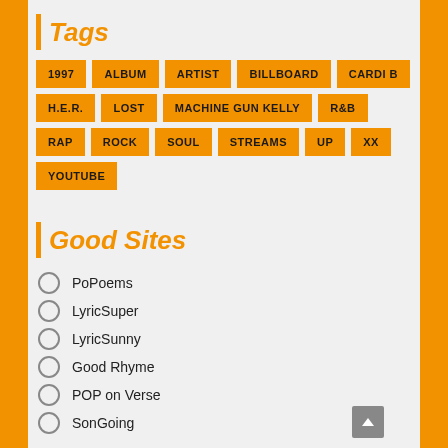Tags
1997
ALBUM
ARTIST
BILLBOARD
CARDI B
H.E.R.
LOST
MACHINE GUN KELLY
R&B
RAP
ROCK
SOUL
STREAMS
UP
XX
YOUTUBE
Good Sites
PoPoems
LyricSuper
LyricSunny
Good Rhyme
POP on Verse
SonGoing